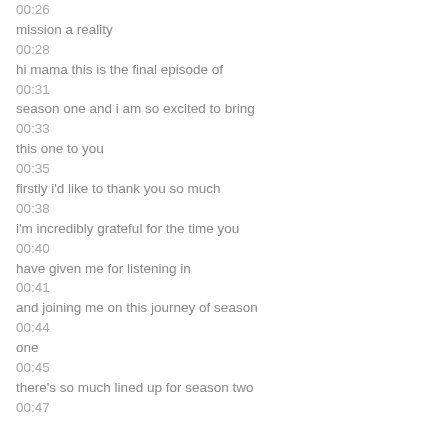00:26
mission a reality
00:28
hi mama this is the final episode of
00:31
season one and i am so excited to bring
00:33
this one to you
00:35
firstly i'd like to thank you so much
00:38
i'm incredibly grateful for the time you
00:40
have given me for listening in
00:41
and joining me on this journey of season
00:44
one
00:45
there's so much lined up for season two
00:47